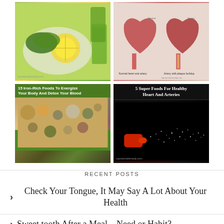[Figure (photo): Top-left: greens, lemon slices, and green juice on a plate]
[Figure (illustration): Top-right: Heart anatomy diagram showing normal heart and artery vs artery with plaque buildup]
[Figure (infographic): Bottom-left: '15 Iron-Rich Foods To Energize Your Body And Detox Your Blood' - Iron Rich-Foods infographic with food images]
[Figure (photo): Bottom-right: '5 Super Foods For Healthy Heart And Arteries' - dark image with red spray nozzle]
RECENT POSTS
Check Your Tongue, It May Say A Lot About Your Health
Sweet tooth After a Meal – Need or Habit?